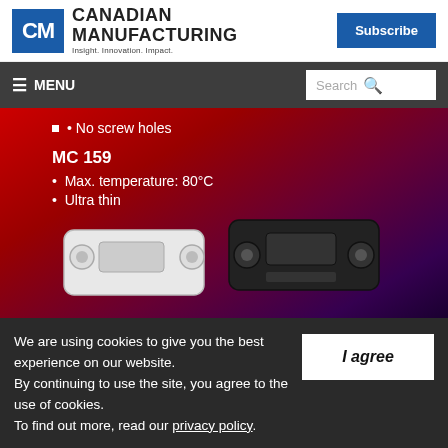Canadian Manufacturing — Insight. Innovation. Impact.
[Figure (screenshot): Navigation bar with hamburger menu and search box on dark grey background]
[Figure (photo): Product advertisement on red-to-purple gradient background showing MC 159 magnetic catches (white and black) with text: No screw holes, MC 159, Max. temperature: 80°C, Ultra thin]
We are using cookies to give you the best experience on our website. By continuing to use the site, you agree to the use of cookies. To find out more, read our privacy policy.